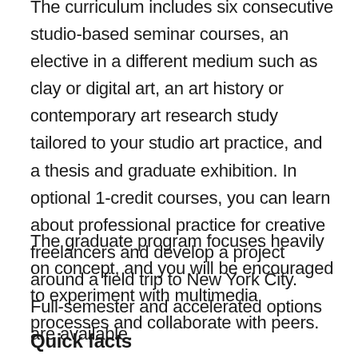The curriculum includes six consecutive studio-based seminar courses, an elective in a different medium such as clay or digital art, an art history or contemporary art research study tailored to your studio art practice, and a thesis and graduate exhibition. In optional 1-credit courses, you can learn about professional practice for creative freelancers and develop a project around a field trip to New York City. Full-semester and accelerated options are available.
The graduate program focuses heavily on concept, and you will be encouraged to experiment with multimedia processes and collaborate with peers.
Quick facts